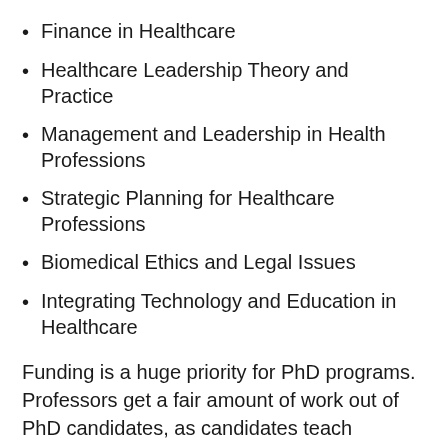Finance in Healthcare
Healthcare Leadership Theory and Practice
Management and Leadership in Health Professions
Strategic Planning for Healthcare Professions
Biomedical Ethics and Legal Issues
Integrating Technology and Education in Healthcare
Funding is a huge priority for PhD programs. Professors get a fair amount of work out of PhD candidates, as candidates teach courses, grade papers, conduct research, and